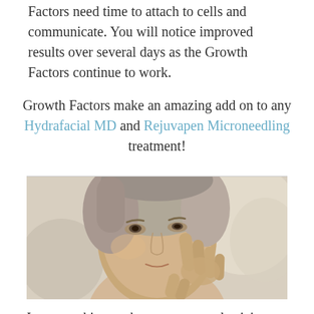Factors need time to attach to cells and communicate. You will notice improved results over several days as the Growth Factors continue to work.
Growth Factors make an amazing add on to any Hydrafacial MD and Rejuvapen Microneedling treatment!
[Figure (photo): Middle-aged woman with short blonde-gray hair examining her face/cheek with her fingers, looking upward, against a blurred light background.]
Improve skin roughness, texture, elasticity, reduce fine lines and